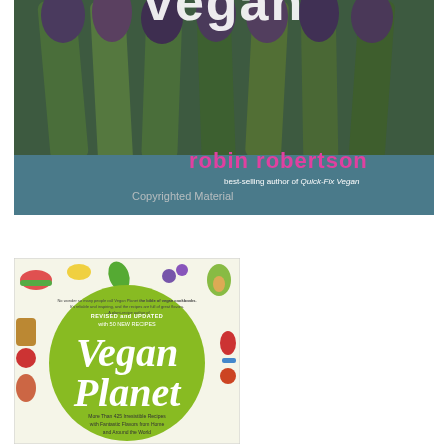[Figure (photo): Book cover showing close-up of asparagus tips on a blue surface. Pink text reads 'vegan' at top. Author name 'robin robertson' in pink, subtitle 'best-selling author of Quick-Fix Vegan' in white. Watermark text 'Copyrighted Material' overlaid.]
[Figure (photo): Book cover for 'Vegan Planet' - Revised and Updated with 50 New Recipes. Green circular background with white script text. Colorful illustrated food icons around the border. Subtitle: 'More Than 425 Irresistible Recipes with Fantastic Flavors from Home and Around the World'.]